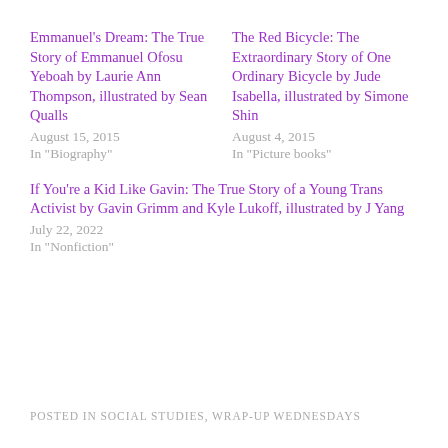Emmanuel's Dream: The True Story of Emmanuel Ofosu Yeboah by Laurie Ann Thompson, illustrated by Sean Qualls
August 15, 2015
In "Biography"
The Red Bicycle: The Extraordinary Story of One Ordinary Bicycle by Jude Isabella, illustrated by Simone Shin
August 4, 2015
In "Picture books"
If You're a Kid Like Gavin: The True Story of a Young Trans Activist by Gavin Grimm and Kyle Lukoff, illustrated by J Yang
July 22, 2022
In "Nonfiction"
POSTED IN SOCIAL STUDIES, WRAP-UP WEDNESDAYS